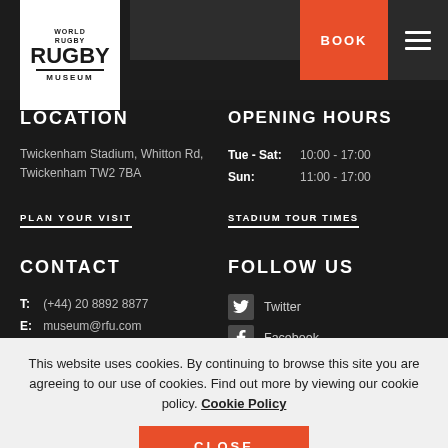[Figure (logo): World Rugby Museum logo - white box with black text]
LOCATION
Twickenham Stadium, Whitton Rd, Twickenham TW2 7BA
PLAN YOUR VISIT
OPENING HOURS
Tue - Sat: 10:00 - 17:00
Sun: 11:00 - 17:00
STADIUM TOUR TIMES
CONTACT
T: (+44) 20 8892 8877
E: museum@rfu.com
FOLLOW US
Twitter
Facebook
This website uses cookies. By continuing to browse this site you are agreeing to our use of cookies. Find out more by viewing our cookie policy. Cookie Policy
CLOSE